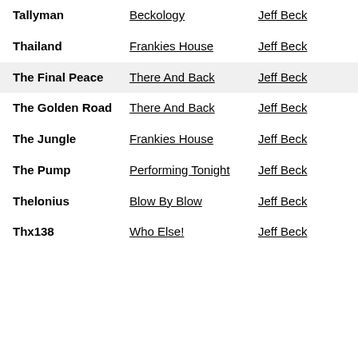| Song | Album | Artist | Year |
| --- | --- | --- | --- |
| Tallyman | Beckology | Jeff Beck | 199?2 |
| Thailand | Frankies House | Jeff Beck | 199?10 |
| The Final Peace | There And Back | Jeff Beck | 198(3 |
| The Golden Road | There And Back | Jeff Beck | 198(3 |
| The Jungle | Frankies House | Jeff Beck | 199?5 |
| The Pump | Performing Tonight | Jeff Beck | 200?2 |
| Thelonius | Blow By Blow | Jeff Beck | 197?2 |
| Thx138 | Who Else! | Jeff Beck | 199?2 |